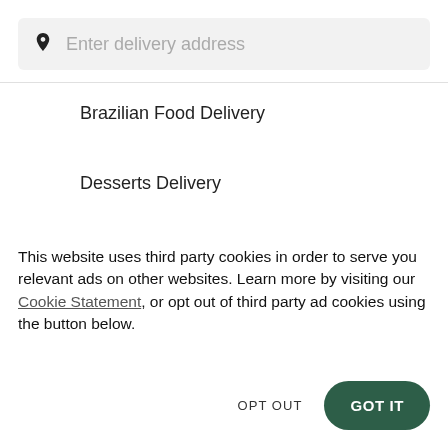[Figure (screenshot): Search bar with map pin icon and placeholder text 'Enter delivery address' on a light gray background]
Brazilian Food Delivery
Desserts Delivery
Vegan Food Delivery
This website uses third party cookies in order to serve you relevant ads on other websites. Learn more by visiting our Cookie Statement, or opt out of third party ad cookies using the button below.
OPT OUT
GOT IT